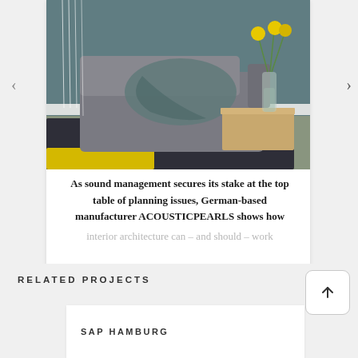[Figure (photo): Interior photo showing a modern grey sofa with a teal/grey throw blanket, a wooden side table with a glass vase of yellow flowers, dark rug, teal painted wall background. White hanging threads visible on left side.]
As sound management secures its stake at the top table of planning issues, German-based manufacturer ACOUSTICPEARLS shows how interior architecture can – and should – work
RELATED PROJECTS
SAP HAMBURG